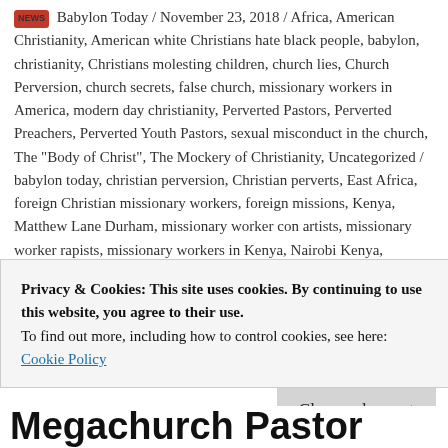NEWS Babylon Today / November 23, 2018 / Africa, American Christianity, American white Christians hate black people, babylon, christianity, Christians molesting children, church lies, Church Perversion, church secrets, false church, missionary workers in America, modern day christianity, Perverted Pastors, Perverted Preachers, Perverted Youth Pastors, sexual misconduct in the church, The "Body of Christ", The Mockery of Christianity, Uncategorized / babylon today, christian perversion, Christian perverts, East Africa, foreign Christian missionary workers, foreign missions, Kenya, Matthew Lane Durham, missionary worker con artists, missionary worker rapists, missionary workers in Kenya, Nairobi Kenya, perverted missionary workers, religion, Western Christianity, white missionary workers molesting African children / 3
Privacy & Cookies: This site uses cookies. By continuing to use this website, you agree to their use. To find out more, including how to control cookies, see here: Cookie Policy
Megachurch Pastor